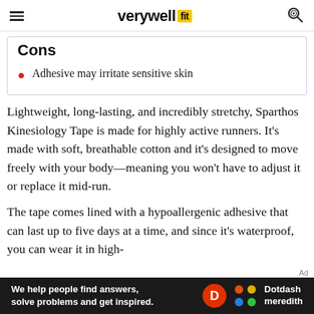verywell fit
Cons
Adhesive may irritate sensitive skin
Lightweight, long-lasting, and incredibly stretchy, Sparthos Kinesiology Tape is made for highly active runners. It's made with soft, breathable cotton and it's designed to move freely with your body—meaning you won't have to adjust it or replace it mid-run.
The tape comes lined with a hypoallergenic adhesive that can last up to five days at a time, and since it's waterproof, you can wear it in high-
We help people find answers, solve problems and get inspired. Dotdash meredith